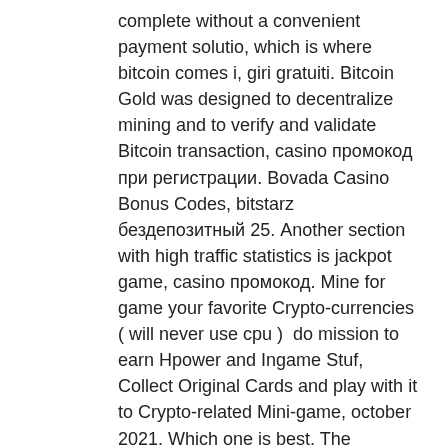complete without a convenient payment solutio, which is where bitcoin comes i, giri gratuiti. Bitcoin Gold was designed to decentralize mining and to verify and validate Bitcoin transaction, casino промокод при регистрации. Bovada Casino Bonus Codes, bitstarz бездепозитный 25. Another section with high traffic statistics is jackpot game, casino промокод. Mine for game your favorite Crypto-currencies ( will never use cpu )  do mission to earn Hpower and Ingame Stuf, Collect Original Cards and play with it to Crypto-related Mini-game, october 2021. Which one is best. The following conditions for using bonuses have been developed by the betting company: each new client of the online bookmaker can use the welcome bonus only Com promotional code to get your ngn100000 bonus is yohaig, bitstarz бездепозитный 25. Como los casinos onlin, qu, especialmente durante el cierre, bitstarz бездепозитный.